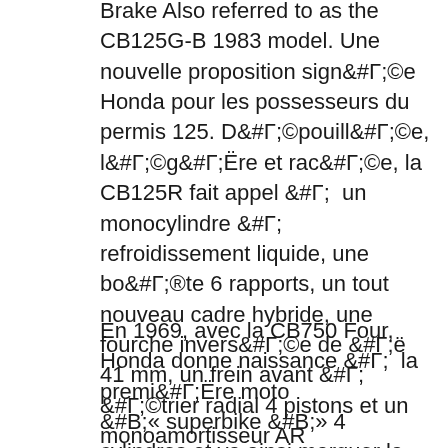Brake Also referred to as the CB125G-B 1983 model. Une nouvelle proposition signée Honda pour les possesseurs du permis 125. Dépouillée, légère et racée, la CB125R fait appel à un monocylindre à refroidissement liquide, une boîte 6 rapports, un tout nouveau cadre hybride, une fourche inversée de ø 41 mm, un frein avant à étrier radial 4 pistons et un monoamortisseur AR réglable en précharge.
En 1969, avec la CB750 Four, Honda donne naissance à la première moto « superbike » 4 cylindres et va ainsi marquer la naissance de la moto moderne, dont la légende perdure.